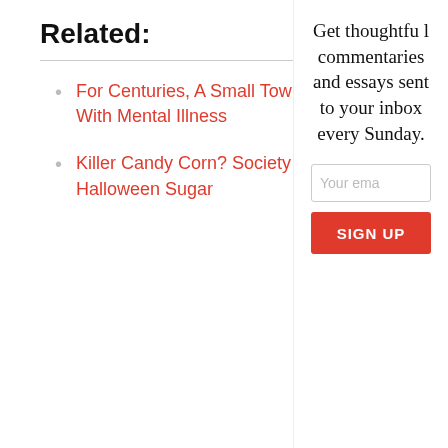Related:
For Centuries, A Small Town Has Embraced People With Mental Illness
Killer Candy Corn? Society Calculates Lethal Levels Of Halloween Sugar
[Figure (photo): Circular portrait photo of Rae Simpson, a woman with short gray hair, smiling]
Rae Simpson  Cogno contributor
Rae Simpson is a mental health writer and consultant.
More...
LISTEN LIVE
Radio Boston
Get thoughtful commentaries and essays sent to your inbox every Sunday.
Your email
SIGN UP